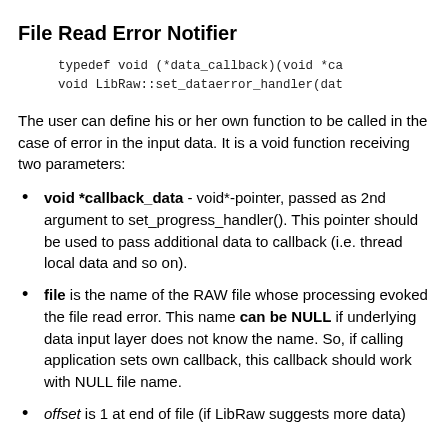File Read Error Notifier
typedef void (*data_callback)(void *ca
void LibRaw::set_dataerror_handler(dat
The user can define his or her own function to be called in the case of error in the input data. It is a void function receiving two parameters:
void *callback_data - void*-pointer, passed as 2nd argument to set_progress_handler(). This pointer should be used to pass additional data to callback (i.e. thread local data and so on).
file is the name of the RAW file whose processing evoked the file read error. This name can be NULL if underlying data input layer does not know the name. So, if calling application sets own callback, this callback should work with NULL file name.
offset is 1 at end of file (if LibRaw suggests more data)